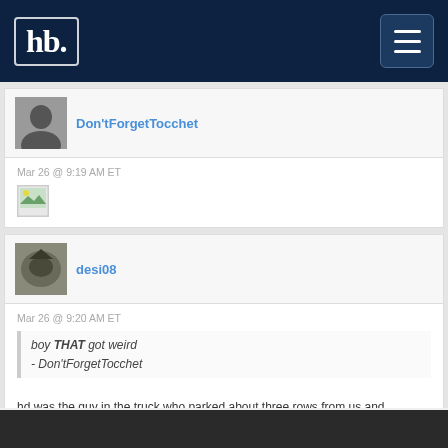hb
Don'tForgetTocchet
Mar 26 @ 9:19 AM ET
[Figure (photo): Broken image placeholder]
desi08
Mar 26 @ 9:20 AM ET
boy THAT got weird
- Don'tForgetTocchet
hd was the guy in the truck who parked about three rows from us and